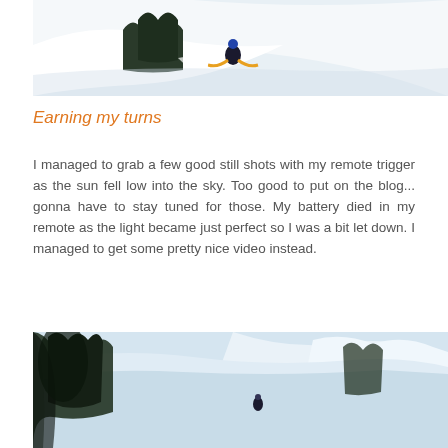[Figure (photo): Snowboarder or skier carving through deep powder snow on a steep mountain slope with trees in the background; aerial action shot with bright white snow and blue sky.]
Earning my turns
I managed to grab a few good still shots with my remote trigger as the sun fell low into the sky. Too good to put on the blog... gonna have to stay tuned for those. My battery died in my remote as the light became just perfect so I was a bit let down. I managed to get some pretty nice video instead.
[Figure (photo): Wide mountain landscape with snow-covered peaks and pine trees; a skier or snowboarder visible in the middle distance on a steep slope, action shot with blurred foreground.]